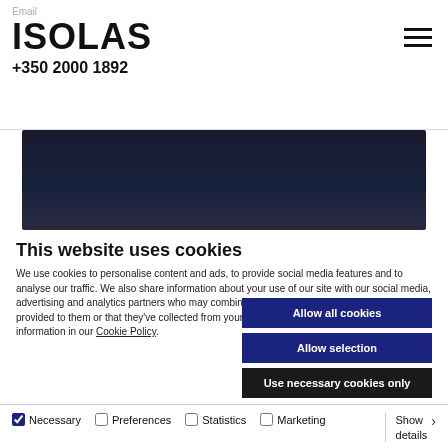Email
ISOLAS
+350 2000 1892
[Figure (photo): Dark hero image banner, dark navy/black background]
This website uses cookies
We use cookies to personalise content and ads, to provide social media features and to analyse our traffic. We also share information about your use of our site with our social media, advertising and analytics partners who may combine it with other information that you've provided to them or that they've collected from your use of their services. See further information in our Cookie Policy.
Allow all cookies
Allow selection
Use necessary cookies only
Necessary  Preferences  Statistics  Marketing  Show details